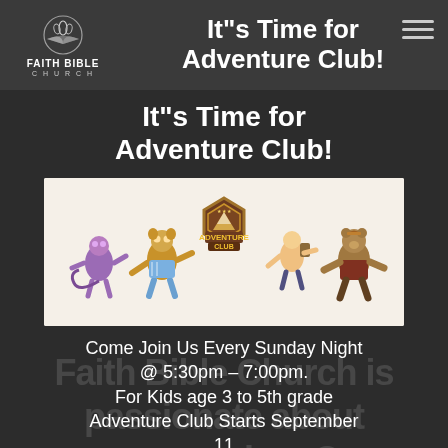[Figure (logo): Faith Bible Church logo with open book and lotus/flame icon]
It"s Time for Adventure Club!
[Figure (illustration): Adventure Club banner with animated animal characters surrounding a central badge reading 'Adventure Club']
Come Join Us Every Sunday Night @ 5:30pm – 7:00pm.
For Kids age 3 to 5th grade
Adventure Club Starts September 11
Register by clicking the box below
Find more information on our